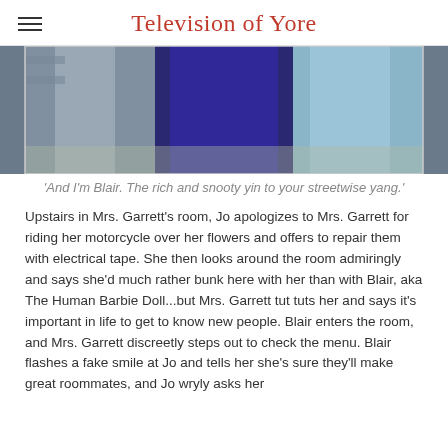Television of Yore
[Figure (photo): Cropped photo showing the lower halves of three people standing: left person wearing grey slacks, center person wearing a dark navy/purple skirt or dress, right person wearing light blue jeans. Shelves visible in background.]
'And I'm Blair. The rich and snooty yin to your streetwise yang.'
Upstairs in Mrs. Garrett's room, Jo apologizes to Mrs. Garrett for riding her motorcycle over her flowers and offers to repair them with electrical tape. She then looks around the room admiringly and says she'd much rather bunk here with her than with Blair, aka The Human Barbie Doll...but Mrs. Garrett tut tuts her and says it's important in life to get to know new people. Blair enters the room, and Mrs. Garrett discreetly steps out to check the menu. Blair flashes a fake smile at Jo and tells her she's sure they'll make great roommates, and Jo wryly asks her